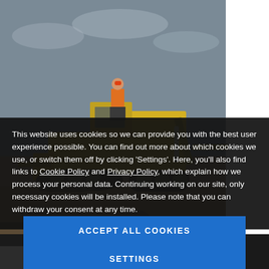[Figure (photo): A man in an orange safety vest and hard hat standing on a large yellow bulldozer/crawler tractor at a construction or mining site. The machine has large tracks and hydraulic arms. The background shows earth and grey sky.]
This website uses cookies so we can provide you with the best user experience possible. You can find out more about which cookies we use, or switch them off by clicking 'Settings'. Here, you'll also find links to Cookie Policy and Privacy Policy, which explain how we process your personal data. Continuing working on our site, only necessary cookies will be installed. Please note that you can withdraw your consent at any time.
ACCEPT ALL COOKIES
SETTINGS